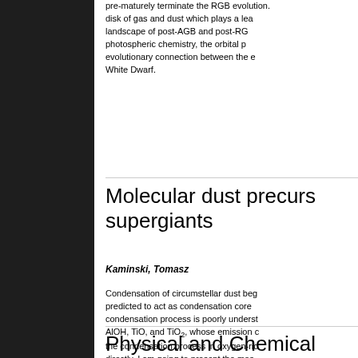pre-maturely terminate the RGB evolution. disk of gas and dust which plays a leading landscape of post-AGB and post-RGB stars: photospheric chemistry, the orbital parameters, evolutionary connection between the evolved binary and White Dwarf.
Molecular dust precursors in ... supergiants
Kaminski, Tomasz
Condensation of circumstellar dust begins with molecular clusters predicted to act as condensation cores, but this early condensation process is poorly understood. Molecules such as AlOH, TiO, and TiO2, whose emission can trace the condensation process in oxygen-rich environments directly. I am going to present the most recent observations of dust close to photospheres of AGB stars and red supergiants observations, especially these related to molecular abundances in the dust-formation zone. Finally, I am going to discuss some of the difficulties.
Physical and Chemical ...